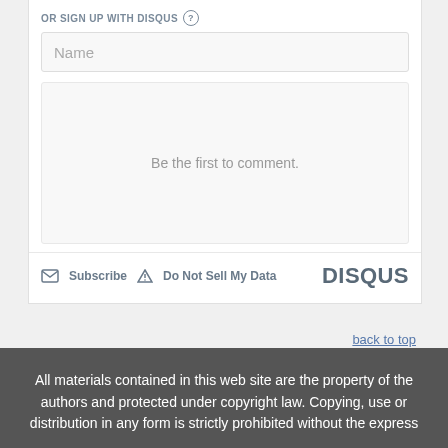OR SIGN UP WITH DISQUS
[Figure (screenshot): Disqus comment widget showing a Name input field, empty comment area with placeholder text 'Be the first to comment.', and a footer bar with Subscribe, Do Not Sell My Data links and DISQUS branding]
back to top
All materials contained in this web site are the property of the authors and protected under copyright law. Copying, use or distribution in any form is strictly prohibited without the express